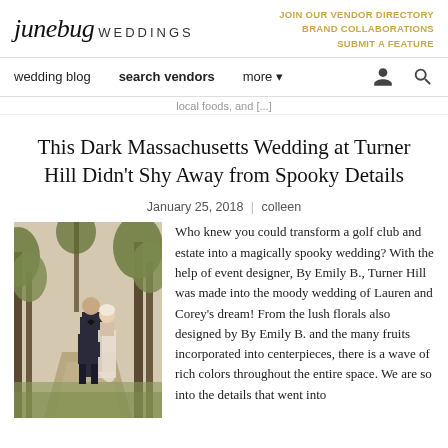junebug WEDDINGS | JOIN OUR VENDOR DIRECTORY | BRAND COLLABORATIONS | SUBMIT A FEATURE
wedding blog  search vendors  more
local foods, and [...]
This Dark Massachusetts Wedding at Turner Hill Didn't Shy Away from Spooky Details
January 25, 2018 | colleen
[Figure (photo): A couple standing on a path outdoors, man in dark suit and bow tie, woman in light dress, trees in background]
Who knew you could transform a golf club and estate into a magically spooky wedding? With the help of event designer, By Emily B., Turner Hill was made into the moody wedding of Lauren and Corey's dream! From the lush florals also designed by By Emily B. and the many fruits incorporated into centerpieces, there is a wave of rich colors throughout the entire space. We are so into the details that went into